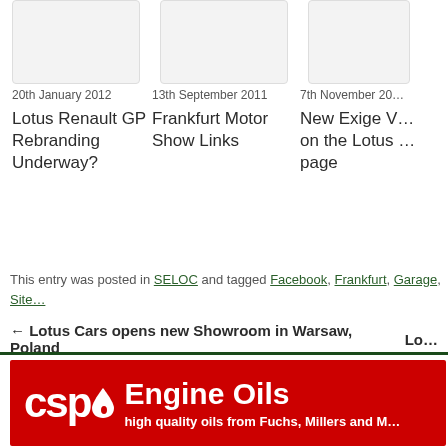[Figure (photo): Card image placeholder (light gray box) for Lotus Renault GP article]
20th January 2012
Lotus Renault GP Rebranding Underway?
[Figure (photo): Card image placeholder (light gray box) for Frankfurt Motor Show article]
13th September 2011
Frankfurt Motor Show Links
[Figure (photo): Card image placeholder (light gray box) for New Exige V article]
7th November 20...
New Exige V... on the Lotus ... page
This entry was posted in SELOC and tagged Facebook, Frankfurt, Garage, Site...
← Lotus Cars opens new Showroom in Warsaw, Poland
Lo...
[Figure (logo): CSP Engine Oils advertisement banner — red background with CSP logo and text 'Engine Oils / high quality oils from Fuchs, Millers and M...']
Site
Social
Home
Facebook